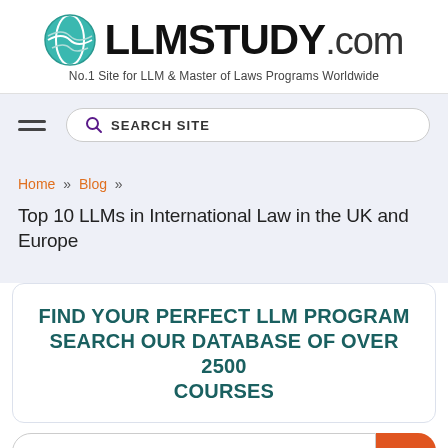[Figure (logo): LLMStudy.com logo with globe icon and bold text]
No.1 Site for LLM & Master of Laws Programs Worldwide
SEARCH SITE
Home » Blog »
Top 10 LLMs in International Law in the UK and Europe
FIND YOUR PERFECT LLM PROGRAM SEARCH OUR DATABASE OF OVER 2500 COURSES